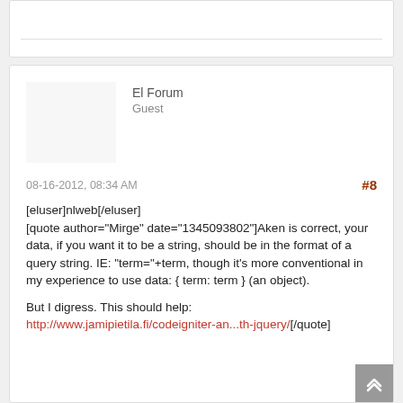El Forum
Guest
08-16-2012, 08:34 AM
#8
[eluser]nlweb[/eluser]
[quote author="Mirge" date="1345093802"]Aken is correct, your data, if you want it to be a string, should be in the format of a query string. IE: "term="+term, though it's more conventional in my experience to use data: { term: term } (an object).

But I digress. This should help:
http://www.jamipietila.fi/codeigniter-an...th-jquery/[/quote]